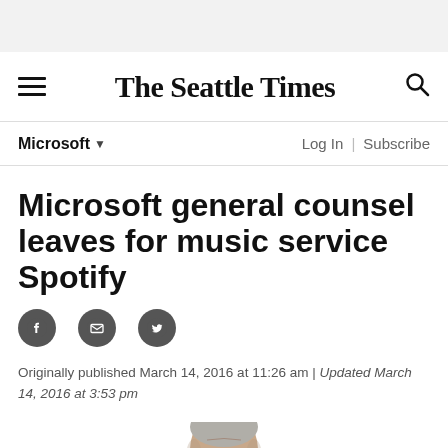The Seattle Times
Microsoft ▼
Log In | Subscribe
Microsoft general counsel leaves for music service Spotify
Originally published March 14, 2016 at 11:26 am | Updated March 14, 2016 at 3:53 pm
[Figure (photo): Headshot of a grey-haired man, cropped at the top of the frame at the bottom of the page]